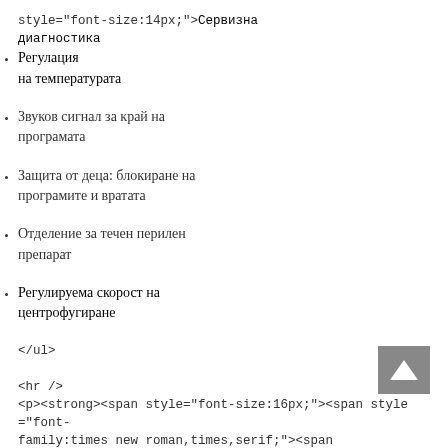style="font-size:14px;"><span style="color:#000000;">Сервизна диагностика</span></span></span></li>
<li><span style="font-family:times new roman,times,serif;"><span style="font-size:14px;"><span style="color:#000000;">Регулация на температурата</span></span></span></li>
<li><span style="font-size:14px;"><span style="font-family:times new roman,times,serif;">Звуков сигнал за край на програмата</span></span></li>
<li><span style="font-size:14px;"><span style="font-family:times new roman,times,serif;">Защита от деца: блокиране на програмите и вратата</span></span></li>
<li><span style="font-size:14px;"><span style="font-family:times new roman,times,serif;">Отделение за течен перилен препарат</span></span></li>
<li><span style="font-family:times new roman,times,serif;"><span style="font-size:14px;"><span style="color:#000000;">Регулируема скорост на центрофугиране</span></span></span></li>
</ul>

<hr />
<p><strong><span style="font-size:16px;"><span style="font-family:times new roman,times,serif;"><span style="color:#000000;"><u>Програми</u></span></span></span></strong></p>